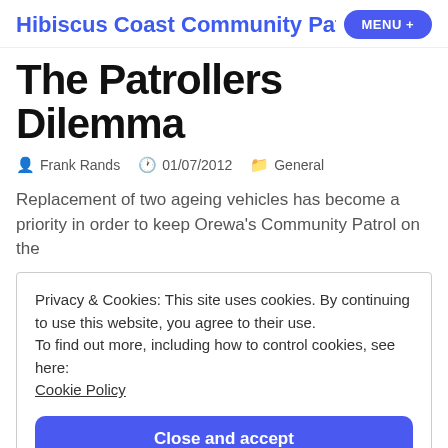Hibiscus Coast Community Patrol   MENU +
The Patrollers Dilemma
Frank Rands   01/07/2012   General
Replacement of two ageing vehicles has become a priority in order to keep Orewa's Community Patrol on the
Privacy & Cookies: This site uses cookies. By continuing to use this website, you agree to their use.
To find out more, including how to control cookies, see here:
Cookie Policy
Close and accept
company's generous sponsorship, which has also paid for